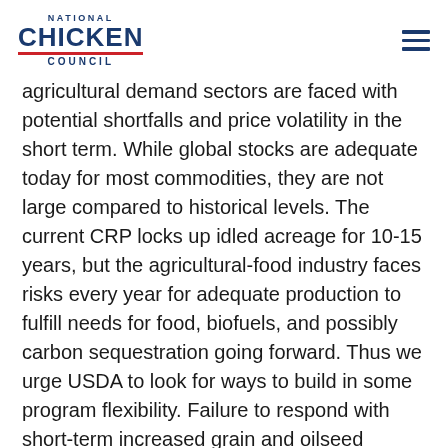National Chicken Council
agricultural demand sectors are faced with potential shortfalls and price volatility in the short term. While global stocks are adequate today for most commodities, they are not large compared to historical levels. The current CRP locks up idled acreage for 10-15 years, but the agricultural-food industry faces risks every year for adequate production to fulfill needs for food, biofuels, and possibly carbon sequestration going forward. Thus we urge USDA to look for ways to build in some program flexibility. Failure to respond with short-term increased grain and oilseed supplies only results in longer-term loss of demand as has been demonstrated by recent liquidation in the livestock and poultry sectors.
Global stocks are still relatively tight and even with